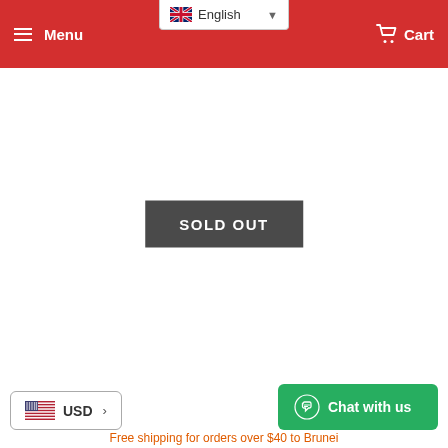Menu  English  Cart
SOLD OUT
USD >
Chat with us
Free shipping for orders over $40 to Brunei